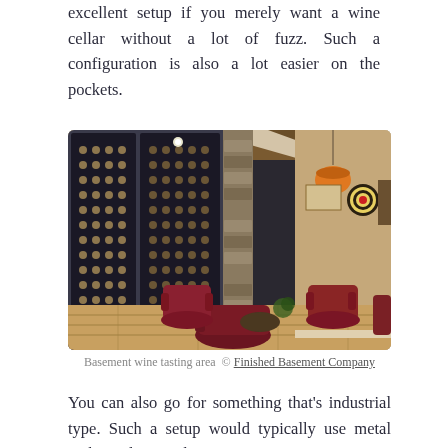excellent setup if you merely want a wine cellar without a lot of fuzz. Such a configuration is also a lot easier on the pockets.
[Figure (photo): Interior photo of a basement wine tasting area with floor-to-ceiling wine racks behind glass on the left wall, stone accent walls, wooden ceiling beams, an orange pendant light, and several dark red leather armchairs arranged around a low table on hardwood flooring. A dartboard is visible on the right wall.]
Basement wine tasting area  © Finished Basement Company
You can also go for something that's industrial type. Such a setup would typically use metal racking along with